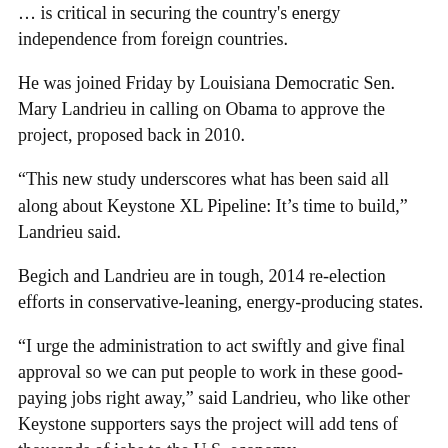… is critical in securing the country's energy independence from foreign countries.
He was joined Friday by Louisiana Democratic Sen. Mary Landrieu in calling on Obama to approve the project, proposed back in 2010.
“This new study underscores what has been said all along about Keystone XL Pipeline: It’s time to build,” Landrieu said.
Begich and Landrieu are in tough, 2014 re-election efforts in conservative-leaning, energy-producing states.
“I urge the administration to act swiftly and give final approval so we can put people to work in these good-paying jobs right away,” said Landrieu, who like other Keystone supporters says the project will add tens of thousands of jobs to the U.S. economy.
Filed under: barack obama, ethicaloil, kerry, keystone